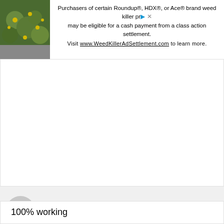[Figure (other): Advertisement banner with plant image on left and text about Roundup weed killer class action settlement]
brand new scheme in our community.
Your website offered us useful information to work on.
You've performed an impressive activity and our entire community will probably be thankful to you.
Ugosance
14/12/2021 at 8:56 AM
100% working